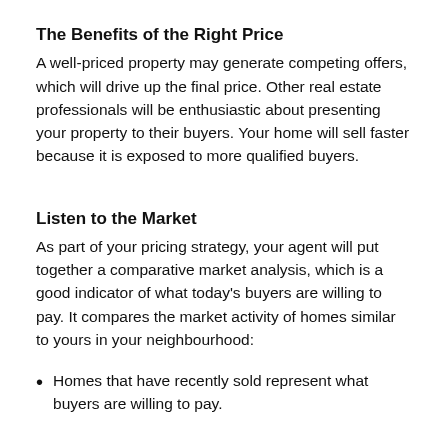The Benefits of the Right Price
A well-priced property may generate competing offers, which will drive up the final price. Other real estate professionals will be enthusiastic about presenting your property to their buyers. Your home will sell faster because it is exposed to more qualified buyers.
Listen to the Market
As part of your pricing strategy, your agent will put together a comparative market analysis, which is a good indicator of what today's buyers are willing to pay. It compares the market activity of homes similar to yours in your neighbourhood:
Homes that have recently sold represent what buyers are willing to pay.